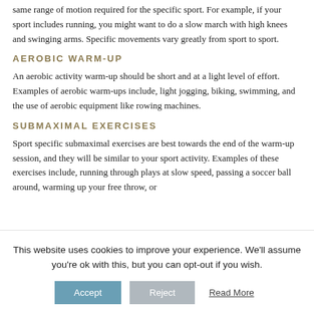same range of motion required for the specific sport. For example, if your sport includes running, you might want to do a slow march with high knees and swinging arms. Specific movements vary greatly from sport to sport.
AEROBIC WARM-UP
An aerobic activity warm-up should be short and at a light level of effort. Examples of aerobic warm-ups include, light jogging, biking, swimming, and the use of aerobic equipment like rowing machines.
SUBMAXIMAL EXERCISES
Sport specific submaximal exercises are best towards the end of the warm-up session, and they will be similar to your sport activity. Examples of these exercises include, running through plays at slow speed, passing a soccer ball around, warming up your free throw, or
This website uses cookies to improve your experience. We'll assume you're ok with this, but you can opt-out if you wish.
Accept   Reject   Read More